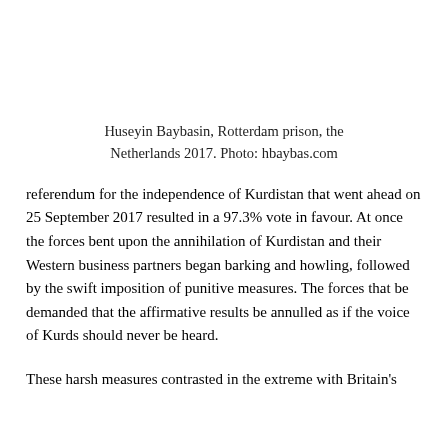Huseyin Baybasin, Rotterdam prison, the Netherlands 2017. Photo: hbaybas.com
referendum for the independence of Kurdistan that went ahead on 25 September 2017 resulted in a 97.3% vote in favour. At once the forces bent upon the annihilation of Kurdistan and their Western business partners began barking and howling, followed by the swift imposition of punitive measures. The forces that be demanded that the affirmative results be annulled as if the voice of Kurds should never be heard.
These harsh measures contrasted in the extreme with Britain's